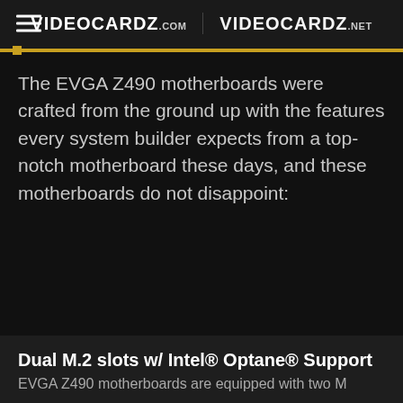VIDEOCARDZ.COM   VIDEOCARDZ.NET
The EVGA Z490 motherboards were crafted from the ground up with the features every system builder expects from a top-notch motherboard these days, and these motherboards do not disappoint:
Dual M.2 slots w/ Intel® Optane® Support
EVGA Z490 motherboards are equipped with two M...